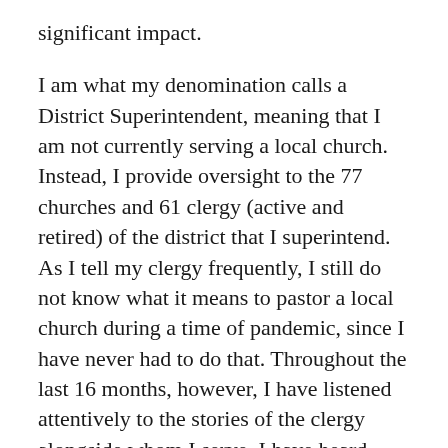significant impact.
I am what my denomination calls a District Superintendent, meaning that I am not currently serving a local church. Instead, I provide oversight to the 77 churches and 61 clergy (active and retired) of the district that I superintend. As I tell my clergy frequently, I still do not know what it means to pastor a local church during a time of pandemic, since I have never had to do that. Throughout the last 16 months, however, I have listened attentively to the stories of the clergy alongside whom I serve. I have heard them describe the anguish of not being able to pray at the hospital bedside of someone who was dying; of not being able to visit their homebound parishioners who have felt